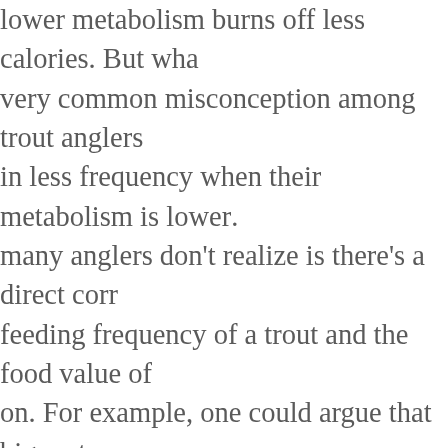lower metabolism burns off less calories. But what's a very common misconception among trout anglers is, in less frequency when their metabolism is lower. What many anglers don't realize is there's a direct correlation feeding frequency of a trout and the food value of what on. For example, one could argue that big mature trout feed predatorily on large food sources (crayfish, mice, and juvinille trout), do feed in less frequency. However, that's probably because the food sources they and foraging on have a much higher overall caloric value turn, allows them to meet their food requirements allows the predatory feeding trout to meet their survival needs during the winter is to eat one or two big ticket pr